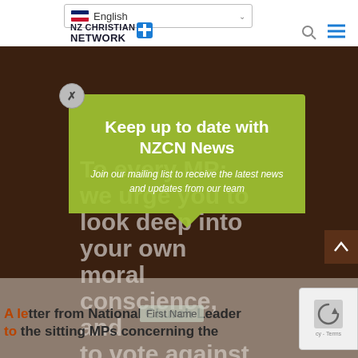English
[Figure (logo): NZ Christian Network logo with cross icon]
Keep up to date with NZCN News
Join our mailing list to receive the latest news and updates from our team
To every MP: we urge you to look deep into your own moral conscience, and to vote against the Abortion Law "Reform" Bill.
A letter from National Church Leaders to the sitting MPs concerning the